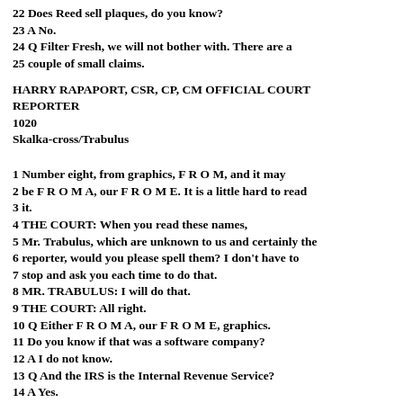22 Does Reed sell plaques, do you know?
23 A No.
24 Q Filter Fresh, we will not bother with. There are a
25 couple of small claims.
HARRY RAPAPORT, CSR, CP, CM OFFICIAL COURT REPORTER
1020
Skalka-cross/Trabulus
1 Number eight, from graphics, F R O M, and it may
2 be F R O M A, our F R O M E. It is a little hard to read
3 it.
4 THE COURT: When you read these names,
5 Mr. Trabulus, which are unknown to us and certainly the
6 reporter, would you please spell them? I don't have to
7 stop and ask you each time to do that.
8 MR. TRABULUS: I will do that.
9 THE COURT: All right.
10 Q Either F R O M A, our F R O M E, graphics.
11 Do you know if that was a software company?
12 A I do not know.
13 Q And the IRS is the Internal Revenue Service?
14 A Yes.